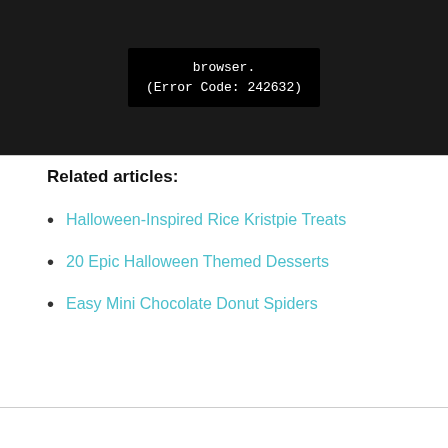[Figure (screenshot): Video player error message on dark background showing 'browser. (Error Code: 242632)']
Related articles:
Halloween-Inspired Rice Kristpie Treats
20 Epic Halloween Themed Desserts
Easy Mini Chocolate Donut Spiders